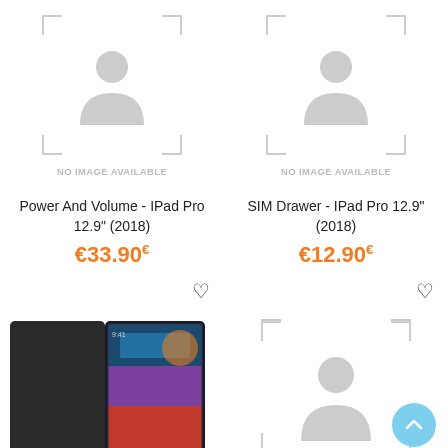[Figure (screenshot): No image available placeholder for Power And Volume - IPad Pro 12.9" (2018)]
[Figure (screenshot): No image available placeholder for SIM Drawer - IPad Pro 12.9" (2018)]
Power And Volume - IPad Pro 12.9" (2018)
€33.90€
SIM Drawer - IPad Pro 12.9" (2018)
€12.90€
[Figure (photo): Tablet case product photo]
[Figure (photo): No image available placeholder, partially visible]